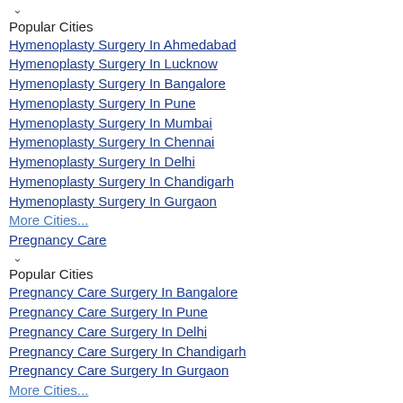▾
Popular Cities
Hymenoplasty Surgery In Ahmedabad
Hymenoplasty Surgery In Lucknow
Hymenoplasty Surgery In Bangalore
Hymenoplasty Surgery In Pune
Hymenoplasty Surgery In Mumbai
Hymenoplasty Surgery In Chennai
Hymenoplasty Surgery In Delhi
Hymenoplasty Surgery In Chandigarh
Hymenoplasty Surgery In Gurgaon
More Cities...
Pregnancy Care
▾
Popular Cities
Pregnancy Care Surgery In Bangalore
Pregnancy Care Surgery In Pune
Pregnancy Care Surgery In Delhi
Pregnancy Care Surgery In Chandigarh
Pregnancy Care Surgery In Gurgaon
More Cities...
Abortion
▾
Popular Cities
Abortion Surgery In Ahmedabad